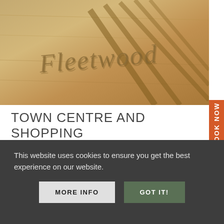[Figure (photo): Sandy beach with text written in the sand, long shadows visible across the sand surface]
TOWN CENTRE AND SHOPPING
If you want to indulge in a spot of retail therapy during your day trip to Fleetwood, you certainly won't be disappointed. The town centre has a good mix of independent shops and national retailers, selling a
This website uses cookies to ensure you get the best experience on our website.